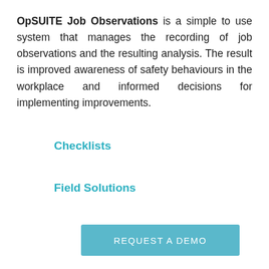OpSUITE Job Observations is a simple to use system that manages the recording of job observations and the resulting analysis. The result is improved awareness of safety behaviours in the workplace and informed decisions for implementing improvements.
Checklists
Field Solutions
REQUEST A DEMO